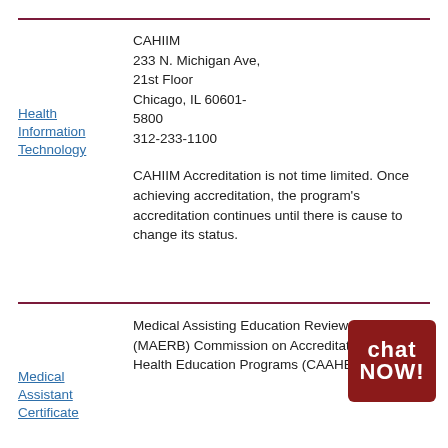CAHIIM
233 N. Michigan Ave,
21st Floor
Chicago, IL 60601-5800
312-233-1100
Health Information Technology
CAHIIM Accreditation is not time limited. Once achieving accreditation, the program's accreditation continues until there is cause to change its status.
Medical Assistant Certificate
Medical Assisting Education Review Board (MAERB) Commission on Accreditation of Allied Health Education Programs (CAAHEP)
[Figure (logo): Chat NOW! logo - dark red square with white bold text reading 'chat' and 'NOW!' with a gold exclamation mark]